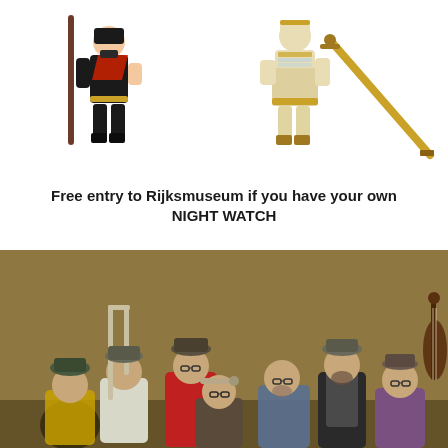[Figure (photo): Two Playmobil toy figures: one dressed in black military/pirate costume with red sash holding a staff, and one dressed in cream/gold Roman soldier costume holding a sword and spear.]
Free entry to Rijksmuseum if you have your own NIGHT WATCH
[Figure (photo): Group photo of approximately seven middle-aged men posed against a golden-brown background in a style reminiscent of a Dutch Golden Age painting. They hold musical instruments including a trombone, trumpet, and double bass. They wear casual contemporary clothing and hats.]